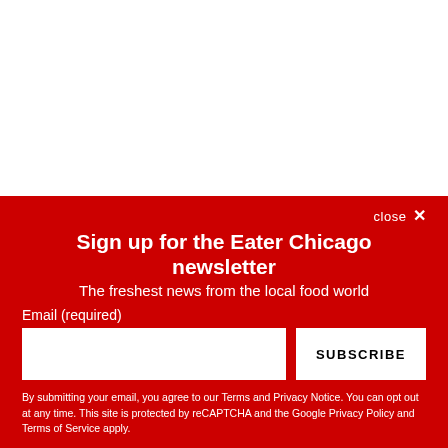[Figure (other): White blank area at top of page, approximately half the page height]
close ✕
Sign up for the Eater Chicago newsletter
The freshest news from the local food world
Email (required)
SUBSCRIBE
By submitting your email, you agree to our Terms and Privacy Notice. You can opt out at any time. This site is protected by reCAPTCHA and the Google Privacy Policy and Terms of Service apply.